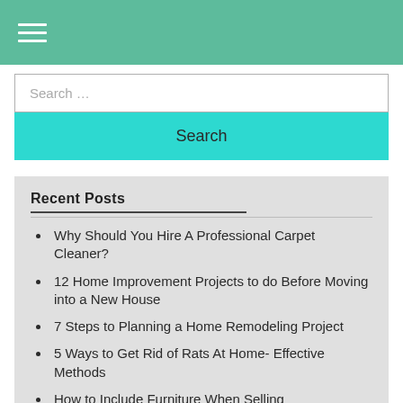Navigation menu (hamburger icon)
Search ...
Search
Recent Posts
Why Should You Hire A Professional Carpet Cleaner?
12 Home Improvement Projects to do Before Moving into a New House
7 Steps to Planning a Home Remodeling Project
5 Ways to Get Rid of Rats At Home- Effective Methods
How to Include Furniture When Selling Your House- Tips…